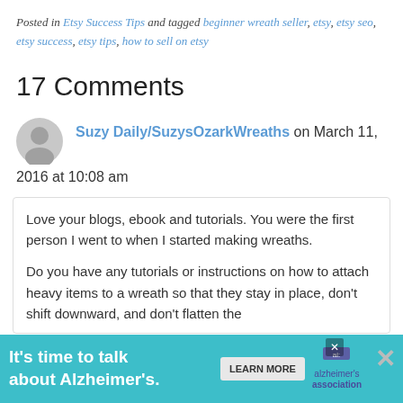Posted in Etsy Success Tips and tagged beginner wreath seller, etsy, etsy seo, etsy success, etsy tips, how to sell on etsy
17 Comments
Suzy Daily/SuzysOzarkWreaths on March 11, 2016 at 10:08 am
Love your blogs, ebook and tutorials. You were the first person I went to when I started making wreaths.

Do you have any tutorials or instructions on how to attach heavy items to a wreath so that they stay in place, don't shift downward, and don't flatten the
[Figure (infographic): Advertisement banner: teal background, 'It's time to talk about Alzheimer's.' with Learn More button and Alzheimer's Association logo]